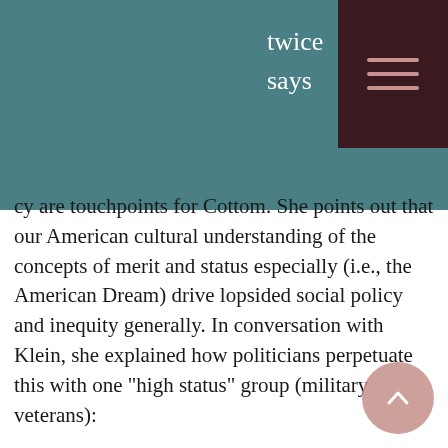twice says
cy are touchpoints for Cottom. She points out that our American cultural understanding of the concepts of merit and status especially (i.e., the American Dream) drive lopsided social policy and inequity generally. In conversation with Klein, she explained how politicians perpetuate this with one "high status" group (military veterans):
We make horrible education policy for veterans. They have some of the highest rates of student loan defaults. The money that